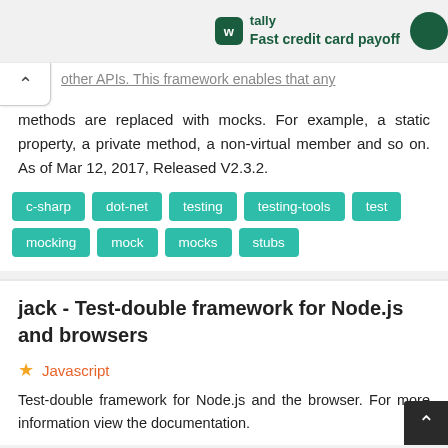[Figure (logo): Tally app logo and 'Fast credit card payoff' ad banner in top right]
other APIs. This framework enables that any methods are replaced with mocks. For example, a static property, a private method, a non-virtual member and so on. As of Mar 12, 2017, Released V2.3.2.
c-sharp
dot-net
testing
testing-tools
test
mocking
mock
mocks
stubs
jack - Test-double framework for Node.js and browsers
Javascript
Test-double framework for Node.js and the browser. For more information view the documentation.